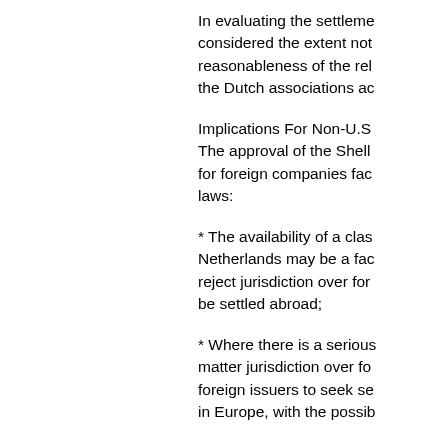In evaluating the settlement, the court considered the extent not reasonableness of the rel the Dutch associations ac
Implications For Non-U.S.
The approval of the Shell for foreign companies fac laws:
* The availability of a clas Netherlands may be a fac reject jurisdiction over for be settled abroad;
* Where there is a serious matter jurisdiction over fo foreign issuers to seek se in Europe, with the possib